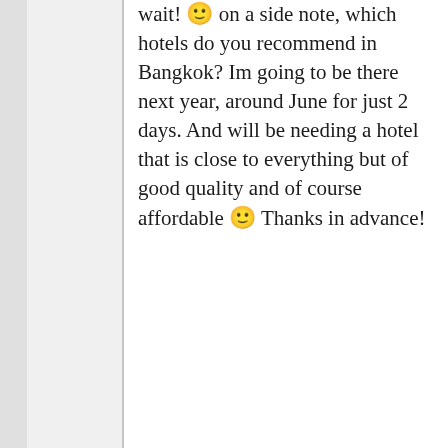wait! 🙂 on a side note, which hotels do you recommend in Bangkok? Im going to be there next year, around June for just 2 days. And will be needing a hotel that is close to everything but of good quality and of course affordable 🙂 Thanks in advance!
[Figure (screenshot): Partially visible reply button and gray video-unavailable overlay strip]
Search for
1  ROAD TRIP SNACK IDEAS
2  TOP 10 TOURIST DESTINATIONS
Ad | Glocal Search